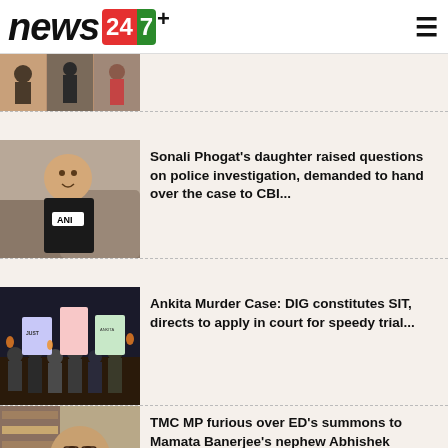news247+
[Figure (photo): Partial news item image strip showing people at what appears to be a gathering or event]
[Figure (photo): Young girl with ANI microphone being interviewed indoors]
Sonali Phogat's daughter raised questions on police investigation, demanded to hand over the case to CBI...
[Figure (photo): Night protest crowd holding banners and signs for justice, Ankita murder case]
Ankita Murder Case: DIG constitutes SIT, directs to apply in court for speedy trial...
[Figure (photo): Elderly man with ANI microphone, speaking interview indoors]
TMC MP furious over ED's summons to Mamata Banerjee's nephew Abhishek Banerjee, told politics of vendetta...